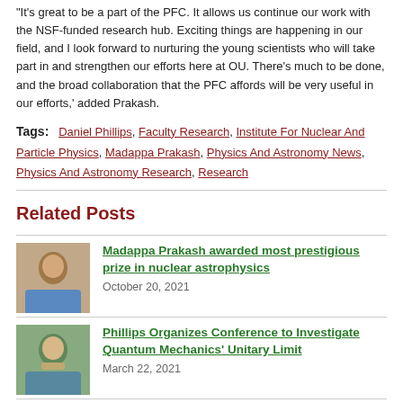“It’s great to be a part of the PFC. It allows us continue our work with the NSF-funded research hub. Exciting things are happening in our field, and I look forward to nurturing the young scientists who will take part in and strengthen our efforts here at OU.  There’s much to be done, and the broad collaboration that the PFC affords will be very useful in our efforts,’ added Prakash.
Tags: Daniel Phillips, Faculty Research, Institute For Nuclear And Particle Physics, Madappa Prakash, Physics And Astronomy News, Physics And Astronomy Research, Research
Related Posts
[Figure (photo): Photo of Madappa Prakash, a person in a blue shirt]
Madappa Prakash awarded most prestigious prize in nuclear astrophysics
October 20, 2021
[Figure (photo): Photo of Daniel Phillips, a person outdoors]
Phillips Organizes Conference to Investigate Quantum Mechanics’ Unitary Limit
March 22, 2021